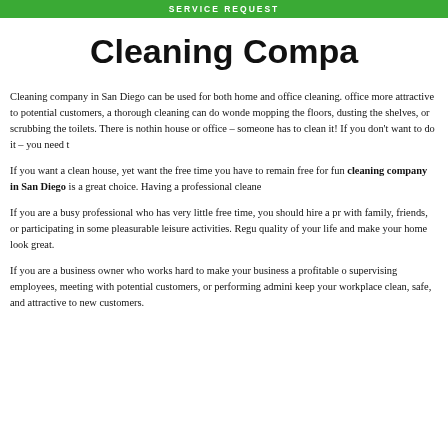SERVICE REQUEST
Cleaning Compa…
Cleaning company in San Diego can be used for both home and office cleaning. office more attractive to potential customers, a thorough cleaning can do wonde mopping the floors, dusting the shelves, or scrubbing the toilets. There is nothin house or office – someone has to clean it! If you don't want to do it – you need t
If you want a clean house, yet want the free time you have to remain free for fun cleaning company in San Diego is a great choice. Having a professional cleane
If you are a busy professional who has very little free time, you should hire a pr with family, friends, or participating in some pleasurable leisure activities. Regu quality of your life and make your home look great.
If you are a business owner who works hard to make your business a profitable o supervising employees, meeting with potential customers, or performing admini keep your workplace clean, safe, and attractive to new customers.